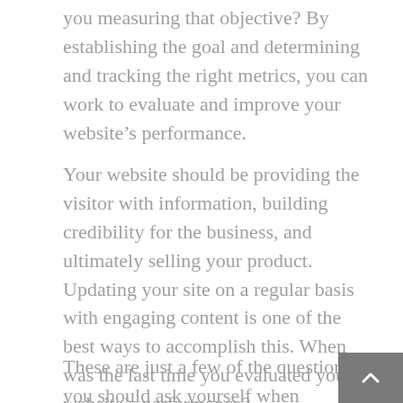you measuring that objective? By establishing the goal and determining and tracking the right metrics, you can work to evaluate and improve your website's performance.
Your website should be providing the visitor with information, building credibility for the business, and ultimately selling your product. Updating your site on a regular basis with engaging content is one of the best ways to accomplish this. When was the last time you evaluated your website's performance?
These are just a few of the questions you should ask yourself when evaluating your